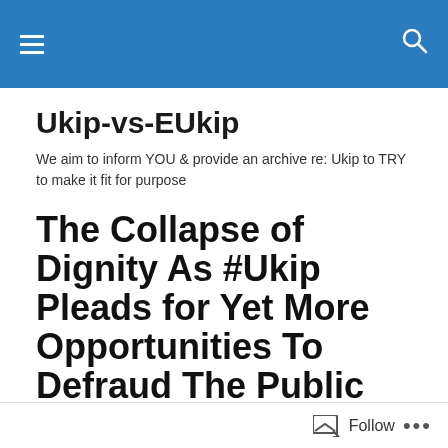Navigation header with hamburger menu and search icon
Ukip-vs-EUkip
We aim to inform YOU & provide an archive re: Ukip to TRY to make it fit for purpose
The Collapse of Dignity As #Ukip Pleads for Yet More Opportunities To Defraud The Public Purse & Enrich The Scum That Has Risen To The Top!
Follow ...